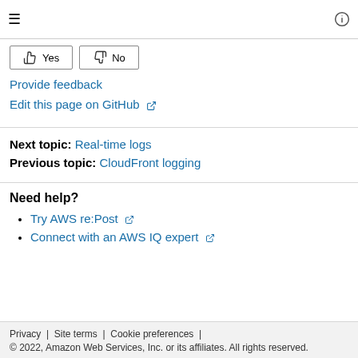≡  ⓘ
[Figure (other): Yes and No feedback buttons with thumbs up and thumbs down icons]
Provide feedback
Edit this page on GitHub ↗
Next topic: Real-time logs
Previous topic: CloudFront logging
Need help?
Try AWS re:Post ↗
Connect with an AWS IQ expert ↗
Privacy | Site terms | Cookie preferences | © 2022, Amazon Web Services, Inc. or its affiliates. All rights reserved.